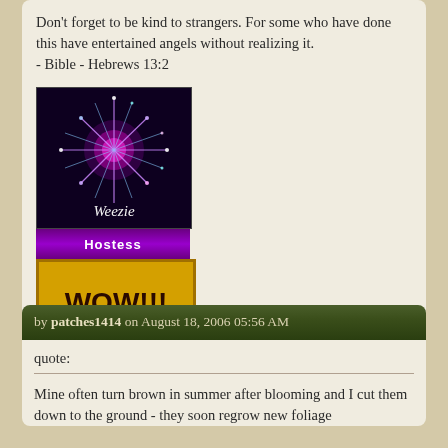Don't forget to be kind to strangers. For some who have done this have entertained angels without realizing it.
- Bible - Hebrews 13:2
[Figure (illustration): A decorative badge showing fireworks/starburst effect on dark purple background with the name 'Weezie' in italic white text, followed by a purple 'Hostess' banner and a gold/yellow 'WOW!!!' badge below.]
http://photobucket.com/albums/y250/weezie13/
by patches1414 on August 18, 2006 05:56 AM
quote:
Mine often turn brown in summer after blooming and I cut them down to the ground - they soon regrow new foliage